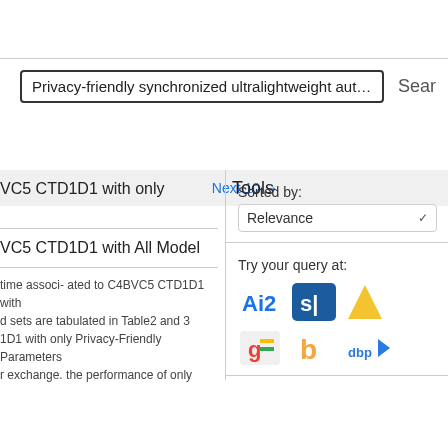[Figure (screenshot): Search bar with text 'Privacy-friendly synchronized ultralightweight authent' and a Search button to the right]
Next 10 →
Tools
VC5 CTD1D1 with only
Sorted by:
Relevance
Try your query at:
[Figure (logo): Row of search engine logos: AI2, Semantic Scholar (S), Multidisciplinary, Google Scholar, Bing, dbpedia]
VC5 CTD1D1 with All Model
time associ- ated to C4BVC5 CTD1D1 with d sets are tabulated in Table2 and 3 1D1 with only Privacy-Friendly Parameters r exchange. the performance of only